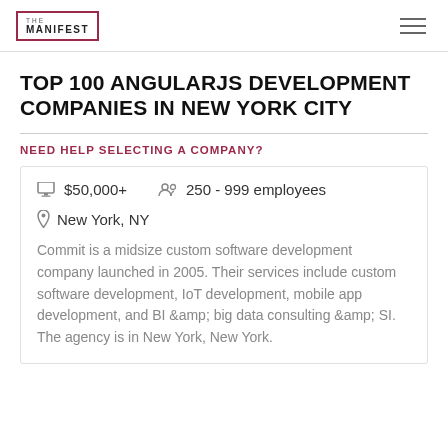THE MANIFEST
TOP 100 ANGULARJS DEVELOPMENT COMPANIES IN NEW YORK CITY
NEED HELP SELECTING A COMPANY?
$50,000+
250 - 999 employees
New York, NY
Commit is a midsize custom software development company launched in 2005. Their services include custom software development, IoT development, mobile app development, and BI &amp; big data consulting &amp; SI. The agency is in New York, New York.